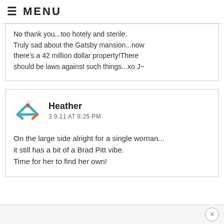≡ MENU
No thank you...too hotely and sterile. Truly sad about the Gatsby mansion...now there's a 42 million dollar property!There should be laws against such things...xo J~
[Figure (logo): Small house/roof icon with chimney in teal and orange colors, used as avatar for commenter Heather]
Heather
3.9.11 AT 8:25 PM
On the large side alright for a single woman... it still has a bit of a Brad Pitt vibe. Time for her to find her own!